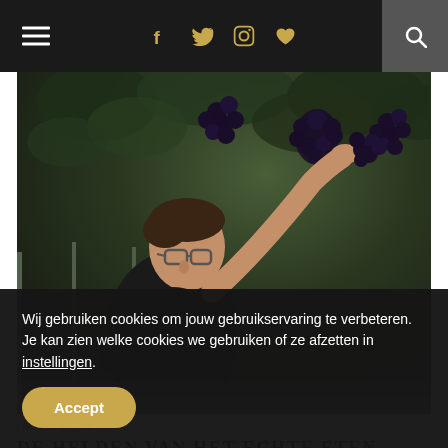[Navigation bar with hamburger menu, social icons (f, twitter, instagram, heart), and search]
[Figure (photo): Man with glasses reaching up to pick dark grapes from vines in a greenhouse or vineyard setting]
INTERVIEW
DE HELDEN VAN HET ECHTE ETEN
Alle Dagen Honger is het bloggend foodcollectief van Barbara Serulus, Johann:
Wij gebruiken cookies om jouw gebruikservaring te verbeteren. Je kan zien welke cookies we gebruiken of ze afzetten in instellingen.
Accept